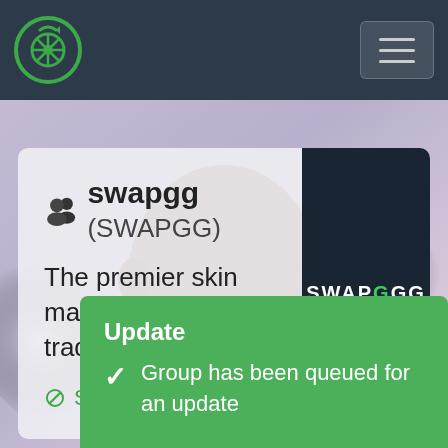[Figure (screenshot): Dark navy navigation bar with a green circular logo icon on left and a hamburger menu button on right]
[Figure (photo): Background photo showing a person's face/neck area with a purple-pink gradient sky behind them]
swapgg (SWAPGG)
The premier skin marketplace and trading platfo...
Steam Group Page
[Figure (logo): SWAPGG dark logo on right side of card with teal accent on G]
Update
Group has been queued for an update